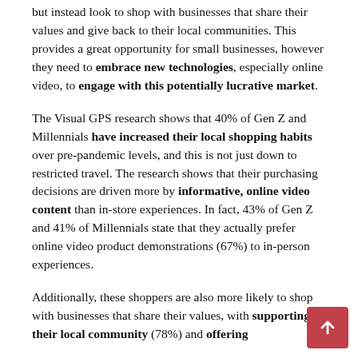but instead look to shop with businesses that share their values and give back to their local communities. This provides a great opportunity for small businesses, however they need to embrace new technologies, especially online video, to engage with this potentially lucrative market.
The Visual GPS research shows that 40% of Gen Z and Millennials have increased their local shopping habits over pre-pandemic levels, and this is not just down to restricted travel. The research shows that their purchasing decisions are driven more by informative, online video content than in-store experiences. In fact, 43% of Gen Z and 41% of Millennials state that they actually prefer online video product demonstrations (67%) to in-person experiences.
Additionally, these shoppers are also more likely to shop with businesses that share their values, with supporting their local community (78%) and offering